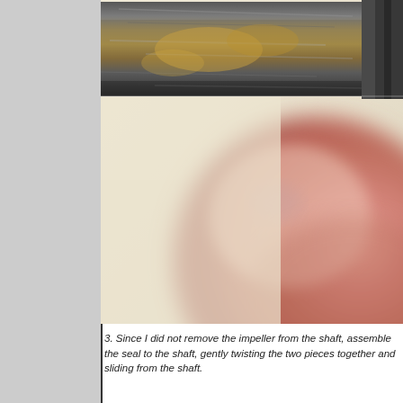[Figure (photo): Close-up photograph showing a metal shaft (dark, cylindrical, with worn/scratched surface) and a blurred pink/flesh-colored rounded object (finger or impeller part) being held near or against the shaft. Background is a light beige/cream color.]
3. Since I did not remove the impeller from the shaft, assemble the seal to the shaft, gently twisting the two pieces together and sliding from the shaft.